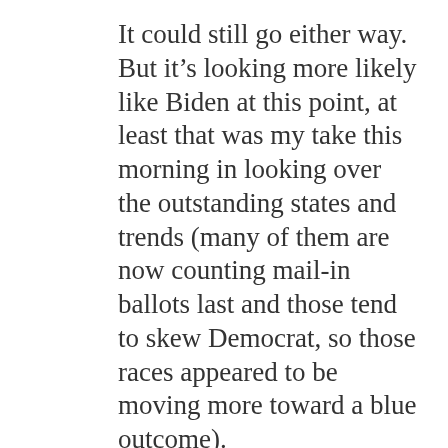It could still go either way. But it's looking more likely like Biden at this point, at least that was my take this morning in looking over the outstanding states and trends (many of them are now counting mail-in ballots last and those tend to skew Democrat, so those races appeared to be moving more toward a blue outcome).
We'll all have to just wait this one out a little longer.
I wouldn't at all be surprised if there were instances of fraud, but some finding of the facts by authorities is required to verify